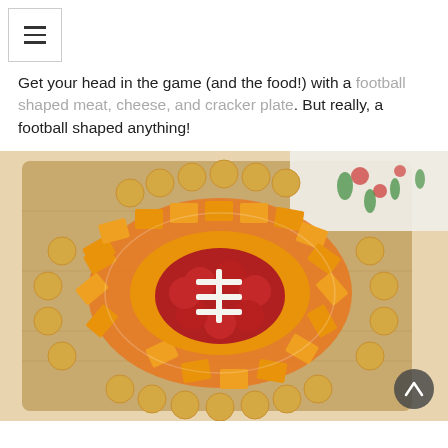≡ (menu icon)
Get your head in the game (and the food!) with a football shaped meat, cheese, and cracker plate. But really, a football shaped anything!
[Figure (photo): A football-shaped charcuterie / appetizer board arranged on a wooden cutting board. The board features round crackers arranged in an oval football outline, surrounded by rectangular cheese slices in concentric ovals, with pepperoni slices in the center and white cheese strips arranged in the shape of football laces. A floral napkin is visible in the background top right corner.]